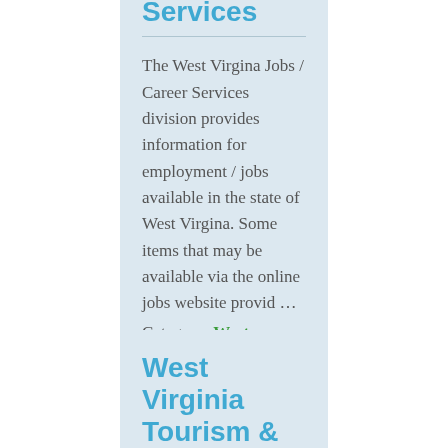Services
The West Virgina Jobs / Career Services division provides information for employment / jobs available in the state of West Virgina. Some items that may be available via the online jobs website provid ...
Category: West Virginia
West Virginia Tourism &